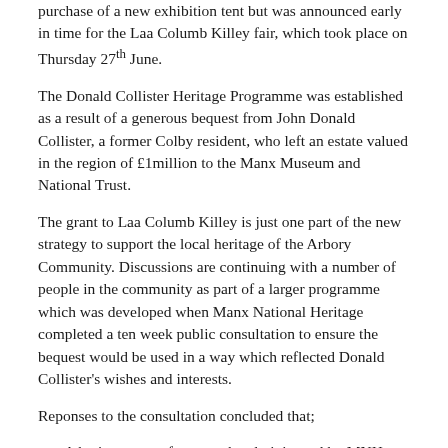purchase of a new exhibition tent but was announced early in time for the Laa Columb Killey fair, which took place on Thursday 27th June.
The Donald Collister Heritage Programme was established as a result of a generous bequest from John Donald Collister, a former Colby resident, who left an estate valued in the region of £1million to the Manx Museum and National Trust.
The grant to Laa Columb Killey is just one part of the new strategy to support the local heritage of the Arbory Community. Discussions are continuing with a number of people in the community as part of a larger programme which was developed when Manx National Heritage completed a ten week public consultation to ensure the bequest would be used in a way which reflected Donald Collister's wishes and interests.
Reponses to the consultation concluded that;
A heritage grant framework, administered by MNH, should be established to create a partnership approach where projects can be delivered by others.
The local community of Colby and Arbory should benefit.
Trustees should seek to create a strong sense of community